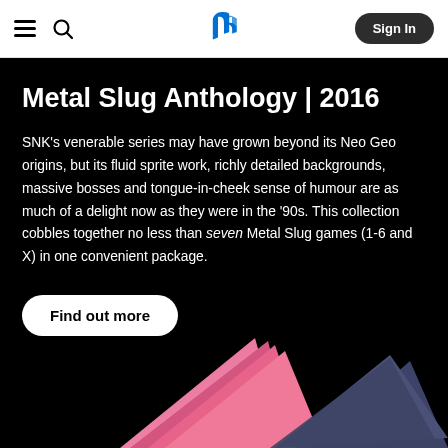PlayStation Store navigation bar with hamburger menu, search icon, PlayStation logo, and Sign In button
Metal Slug Anthology | 2016
SNK’s venerable series may have grown beyond its Neo Geo origins, but its fluid sprite work, richly detailed backgrounds, massive bosses and tongue-in-cheek sense of humour are as much of a delight now as they were in the ’90s. This collection cobbles together no less than seven Metal Slug games (1-6 and X) in one convenient package.
Find out more
[Figure (illustration): Colorful geometric triangular shapes in pink/purple and dark blue/slate colors at the bottom of the page against a black background]